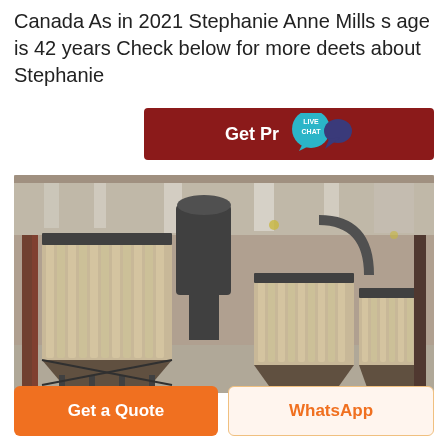Canada As in 2021 Stephanie Anne Mills s age is 42 years Check below for more deets about Stephanie
[Figure (other): Red button with 'Get Pr...' text and a teal 'LIVE CHAT' badge/bubble]
[Figure (photo): Industrial dust collector / baghouse filter units inside a large warehouse with steel frame structure]
Get a Quote
WhatsApp